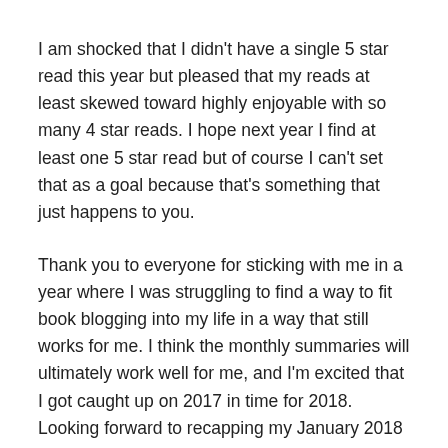I am shocked that I didn't have a single 5 star read this year but pleased that my reads at least skewed toward highly enjoyable with so many 4 star reads. I hope next year I find at least one 5 star read but of course I can't set that as a goal because that's something that just happens to you.
Thank you to everyone for sticking with me in a year where I was struggling to find a way to fit book blogging into my life in a way that still works for me. I think the monthly summaries will ultimately work well for me, and I'm excited that I got caught up on 2017 in time for 2018. Looking forward to recapping my January 2018 reads for you all. If you want to see or hear from more of me in the meantime, I welcome you to follow my bookstagram.